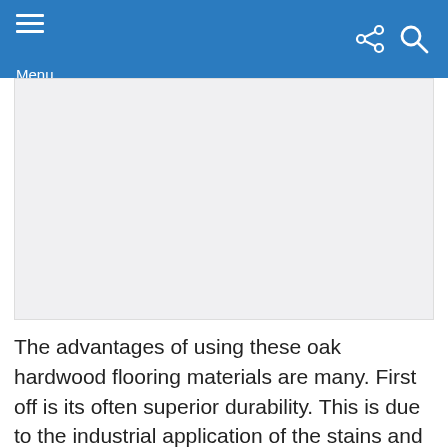Menu
[Figure (photo): Image placeholder area with light gray background]
The advantages of using these oak hardwood flooring materials are many. First off is its often superior durability. This is due to the industrial application of the stains and finishes on the wood itself. With prefinished oak hardwood flooring, these treatments are done in the factory with industrial-grade sealers and machine. These heavy-duty processes are